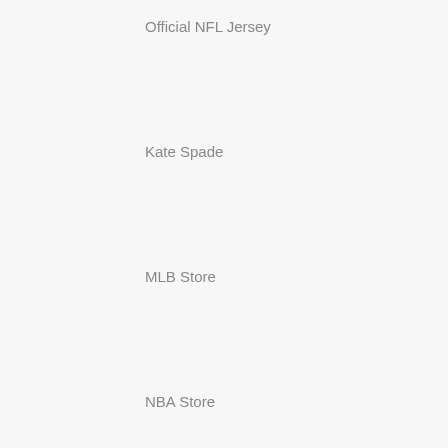Official NFL Jersey
Kate Spade
MLB Store
NBA Store
Golden Goose Trainers
fila
Hydro Flask Lids
Karen Millen Sale
Suicoke Moto Sandals